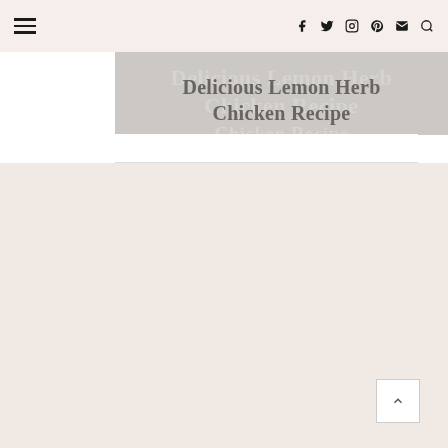Navigation bar with hamburger menu and social icons: Facebook, Twitter, Instagram, Pinterest, Email, Search
Delicious Lemon Herb Chicken Recipe
READ MORE
[Figure (other): Blog post card with overlapping ghost text and main title 'Delicious Lemon Herb Chicken Recipe' on gray background with a READ MORE button]